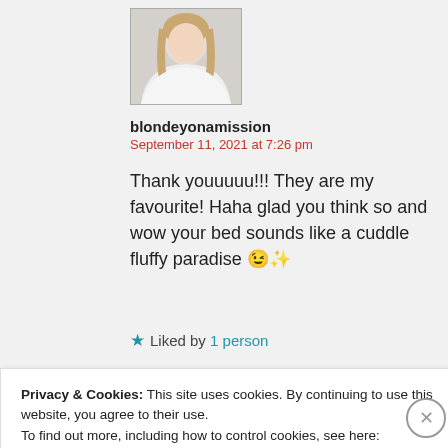[Figure (photo): Profile photo of a blonde woman in a white top, used as avatar for the commenter blondeyonamission]
blondeyonamission
September 11, 2021 at 7:26 pm
Thank youuuuu!!! They are my favourite! Haha glad you think so and wow your bed sounds like a cuddle fluffy paradise 😉✨
★ Liked by 1 person
Privacy & Cookies: This site uses cookies. By continuing to use this website, you agree to their use.
To find out more, including how to control cookies, see here:
Cookie Policy
CLOSE AND ACCEPT